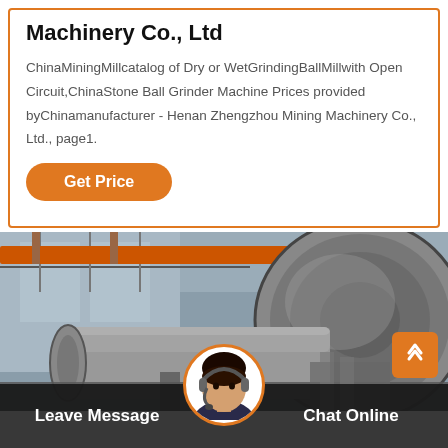Machinery Co., Ltd
ChinaMiningMillcatalog of Dry or WetGrindingBallMillwith Open Circuit,ChinaStone Ball Grinder Machine Prices provided byChinamanufacturer - Henan Zhengzhou Mining Machinery Co., Ltd., page1.
Get Price
[Figure (photo): Industrial factory interior showing a large ball mill grinding machine with cylindrical drum, overhead orange crane, and steel infrastructure. Bottom overlay bar shows 'Leave Message' on left, customer service avatar in center, and 'Chat Online' on right.]